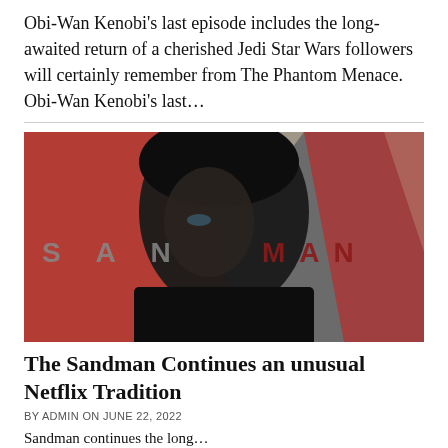Obi-Wan Kenobi's last episode includes the long-awaited return of a cherished Jedi Star Wars followers will certainly remember from The Phantom Menace. Obi-Wan Kenobi's last...
[Figure (photo): Promotional poster for The Sandman Netflix series showing a pale young man with dark hair against a red and grey background with the title SANDMAN in large letters]
The Sandman Continues an unusual Netflix Tradition
BY ADMIN ON JUNE 22, 2022
Sandman continues the long...